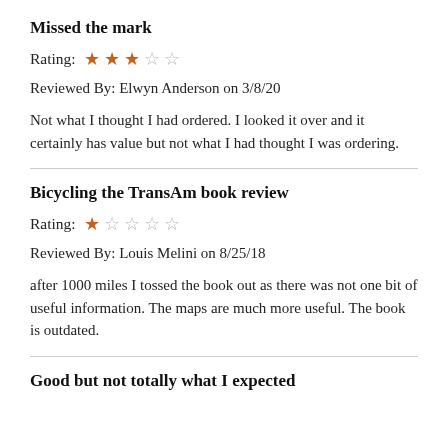Missed the mark
Rating: ★★★☆☆
Reviewed By: Elwyn Anderson on 3/8/20
Not what I thought I had ordered. I looked it over and it certainly has value but not what I had thought I was ordering.
Bicycling the TransAm book review
Rating: ★☆☆☆☆
Reviewed By: Louis Melini on 8/25/18
after 1000 miles I tossed the book out as there was not one bit of useful information. The maps are much more useful. The book is outdated.
Good but not totally what I expected